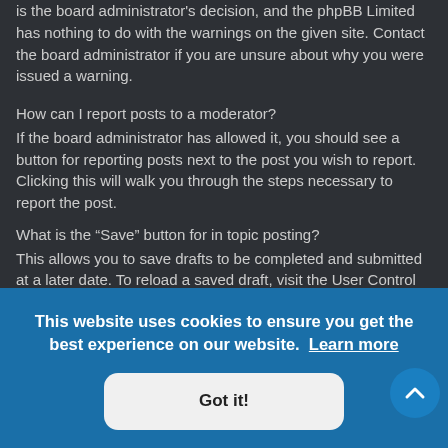is the board administrator's decision, and the phpBB Limited has nothing to do with the warnings on the given site. Contact the board administrator if you are unsure about why you were issued a warning.
How can I report posts to a moderator?
If the board administrator has allowed it, you should see a button for reporting posts next to the post you wish to report. Clicking this will walk you through the steps necessary to report the post.
What is the "Save" button for in topic posting?
This allows you to save drafts to be completed and submitted at a later date. To reload a saved draft, visit the User Control Panel.
Why does my post need to be approved?
...orum you ...sible that ...osts
By clicking the "Bump topic" link when you are viewing it, you can "bump"
This website uses cookies to ensure you get the best experience on our website. Learn more
Got it!